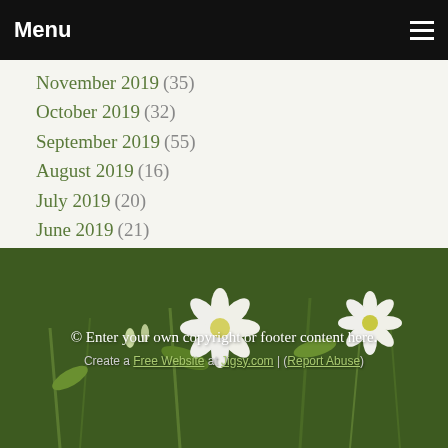Menu
November 2019 (35)
October 2019 (32)
September 2019 (55)
August 2019 (16)
July 2019 (20)
June 2019 (21)
May 2019 (8)
COMMENTS
There are currently no blog comments.
© Enter your own copyright or footer content here. Create a Free Website at Jigsy.com | Report Abuse